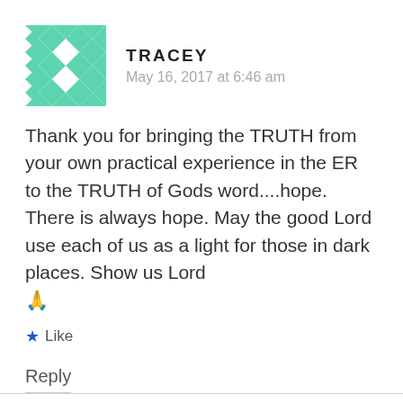[Figure (illustration): Green and white geometric/diamond pattern avatar icon for user Tracey]
TRACEY
May 16, 2017 at 6:46 am
Thank you for bringing the TRUTH from your own practical experience in the ER to the TRUTH of Gods word....hope. There is always hope. May the good Lord use each of us as a light for those in dark places. Show us Lord 🙏
★ Like
Reply